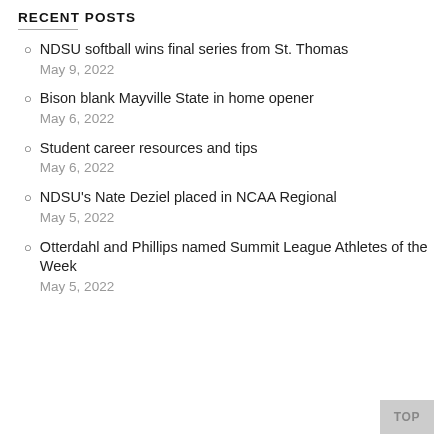RECENT POSTS
NDSU softball wins final series from St. Thomas
May 9, 2022
Bison blank Mayville State in home opener
May 6, 2022
Student career resources and tips
May 6, 2022
NDSU's Nate Deziel placed in NCAA Regional
May 5, 2022
Otterdahl and Phillips named Summit League Athletes of the Week
May 5, 2022